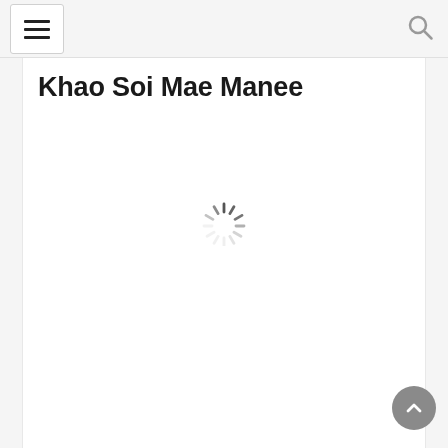Navigation menu and search icon
Khao Soi Mae Manee
[Figure (other): Loading spinner / activity indicator shown in the center of the page content area]
[Figure (other): Back-to-top button (circular grey button with upward chevron arrow) in the bottom-right corner]